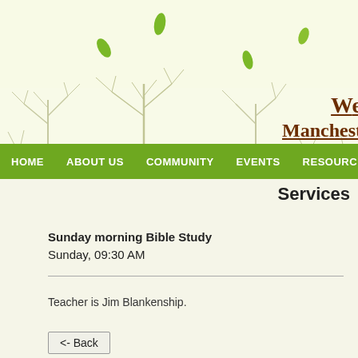[Figure (illustration): Website header banner with falling green leaves on light yellow-green background and bare tree/grass silhouettes]
Welcome to Manchester
HOME   ABOUT US   COMMUNITY   EVENTS   RESOURCES
Services
Sunday morning Bible Study
Sunday, 09:30 AM
Teacher is Jim Blankenship.
<- Back